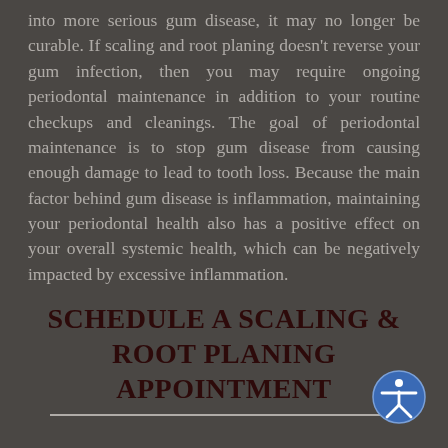into more serious gum disease, it may no longer be curable. If scaling and root planing doesn't reverse your gum infection, then you may require ongoing periodontal maintenance in addition to your routine checkups and cleanings. The goal of periodontal maintenance is to stop gum disease from causing enough damage to lead to tooth loss. Because the main factor behind gum disease is inflammation, maintaining your periodontal health also has a positive effect on your overall systemic health, which can be negatively impacted by excessive inflammation.
SCHEDULE A SCALING & ROOT PLANING APPOINTMENT